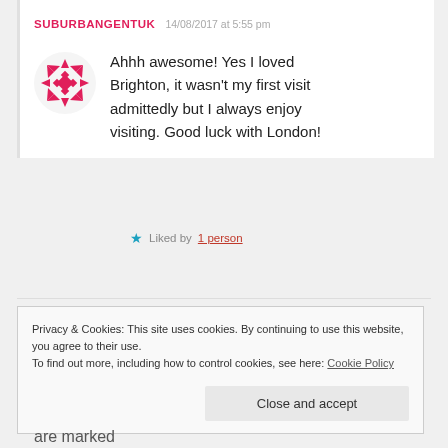SUBURBANGENTUK   14/08/2017 at 5:55 pm
Ahhh awesome! Yes I loved Brighton, it wasn't my first visit admittedly but I always enjoy visiting. Good luck with London!
★ Liked by 1 person
Privacy & Cookies: This site uses cookies. By continuing to use this website, you agree to their use.
To find out more, including how to control cookies, see here: Cookie Policy
Close and accept
are marked